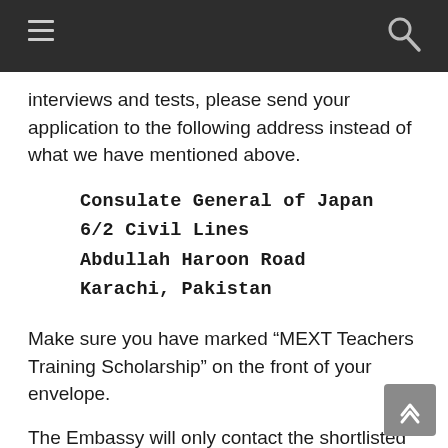interviews and tests, please send your application to the following address instead of what we have mentioned above.
Consulate General of Japan
6/2 Civil Lines
Abdullah Haroon Road
Karachi, Pakistan
Make sure you have marked “MEXT Teachers Training Scholarship” on the front of your envelope.
The Embassy will only contact the shortlisted candidates by February 2021. If by then you have not received any calls, please accept that you are the unsuccessful one. Do not be discouraged. You can